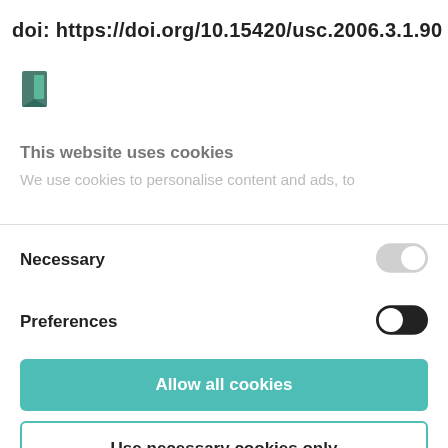doi: https://doi.org/10.15420/usc.2006.3.1.90
[Figure (logo): Small green/teal bookmark-shaped logo icon]
This website uses cookies
We use cookies to personalise content and ads, to
Necessary
[Figure (other): Toggle switch in OFF position (grey)]
Preferences
[Figure (other): Toggle switch in ON position (dark/black)]
Allow all cookies
Use necessary cookies only
Powered by Cookiebot by Usercentrics